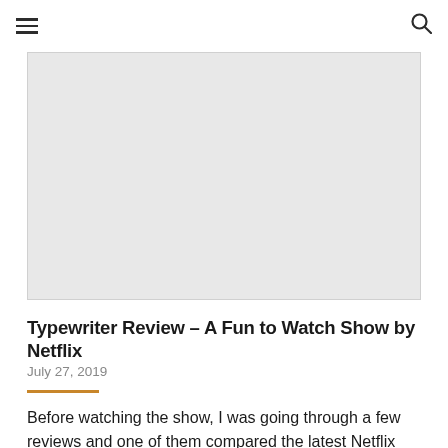≡  🔍
[Figure (photo): Light gray placeholder image for the article hero/thumbnail]
Typewriter Review – A Fun to Watch Show by Netflix
July 27, 2019
Before watching the show, I was going through a few reviews and one of them compared the latest Netflix Indian offering,